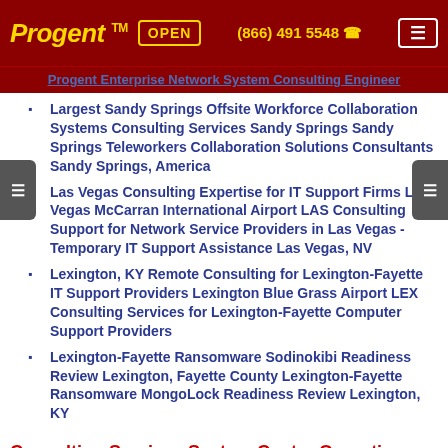Progent™  OPEN  (866) 491 5548  ☎  ☰
Progent Enterprise Network System Consulting Engineer
Largest Sandy Springs Offsite Workforce Collaboration Systems Consulting Services Sandy Springs Sandy Springs Teleworkers Collaboration Solutions Consultants Sandy Springs, America
Las Vegas Consulting Expertise for IT Support Firms Las Vegas McCarran International Airport LAS Consulting Support for Network Service Providers in Las Vegas - Temporary IT Support Assistance Las Vegas, NV
Lexington, KY Remote Consulting for Lexington-Fayette IT Support Providers Lexington Blue Grass Airport LEX Consulting Services for Lexington-Fayette Computer Support Providers
Lexington-Fayette Ransomware Sodinokibi Readiness Review Lexington, Fayette County Lexington-Fayette Ransomware MongoLock Readiness Review Lexington, KY
Consulting Services System Center Operations Manager